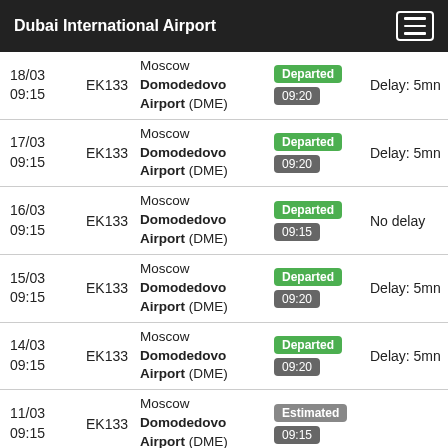Dubai International Airport
| Date | Flight | Destination | Status | Delay |
| --- | --- | --- | --- | --- |
| 18/03 09:15 | EK133 | Moscow Domodedovo Airport (DME) | Departed 09:20 | Delay: 5mn |
| 17/03 09:15 | EK133 | Moscow Domodedovo Airport (DME) | Departed 09:20 | Delay: 5mn |
| 16/03 09:15 | EK133 | Moscow Domodedovo Airport (DME) | Departed 09:15 | No delay |
| 15/03 09:15 | EK133 | Moscow Domodedovo Airport (DME) | Departed 09:20 | Delay: 5mn |
| 14/03 09:15 | EK133 | Moscow Domodedovo Airport (DME) | Departed 09:20 | Delay: 5mn |
| 11/03 09:15 | EK133 | Moscow Domodedovo Airport (DME) | Estimated 09:15 |  |
| 10/03 | EK133 | Moscow Domodedovo | Estimated |  |